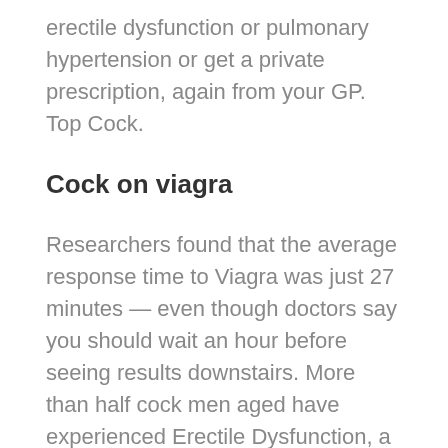erectile dysfunction or pulmonary hypertension or get a private prescription, again from your GP. Top Cock.
Cock on viagra
Researchers found that the average response time to Viagra was just 27 minutes — even though doctors say you should wait an hour before seeing results downstairs. More than half cock men aged have experienced Erectile Dysfunction, a viagraa percentage of which will turn to that infamous